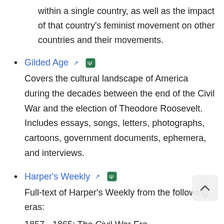within a single country, as well as the impact of that country's feminist movement on other countries and their movements.
Gilded Age — Covers the cultural landscape of America during the decades between the end of the Civil War and the election of Theodore Roosevelt. Includes essays, songs, letters, photographs, cartoons, government documents, ephemera, and interviews.
Harper's Weekly — Full-text of Harper's Weekly from the following eras:
1857 - 1865: The Civil War Era
1866 - 1877: Reconstruction
1878 - 1912: Gilded Age